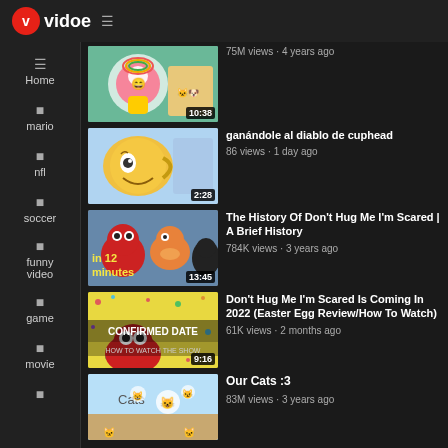vidoe
Home
mario
nfl
soccer
funny video
game
movie
[Figure (screenshot): Video thumbnail - 10:38 duration, cartoon characters]
75M views · 4 years ago
[Figure (screenshot): Video thumbnail - Cuphead character, 2:28 duration]
ganándole al diablo de cuphead
86 views · 1 day ago
[Figure (screenshot): Video thumbnail - Don't Hug Me I'm Scared puppets, in 12 minutes text, 13:45 duration]
The History Of Don't Hug Me I'm Scared | A Brief History
784K views · 3 years ago
[Figure (screenshot): Video thumbnail - CONFIRMED DATE HOW TO WATCH THE SHOW, 9:16 duration]
Don't Hug Me I'm Scared Is Coming In 2022 (Easter Egg Review/How To Watch)
61K views · 2 months ago
[Figure (screenshot): Video thumbnail - Cats :3]
Our Cats :3
83M views · 3 years ago